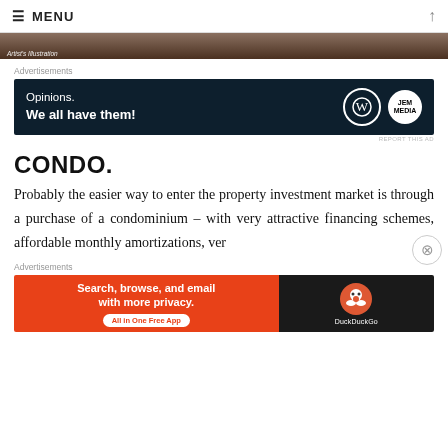☰ MENU
[Figure (photo): Partial image of a dark brown surface with 'Artist's Illustration' label]
Advertisements
[Figure (other): Advertisement banner: 'Opinions. We all have them!' with WordPress and JEM logos on dark navy background]
REPORT THIS AD
CONDO.
Probably the easier way to enter the property investment market is through a purchase of a condominium – with very attractive financing schemes, affordable monthly amortizations, ver…
Advertisements
[Figure (other): Advertisement banner for DuckDuckGo: 'Search, browse, and email with more privacy. All in One Free App']